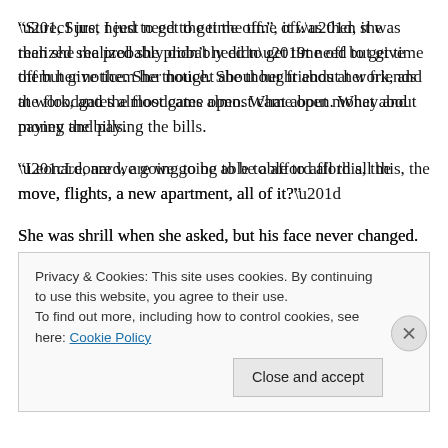“Sure, I just need to get the time off.”, it was then she realized she probably didn’t need to get time off but give them her notice. She thought about her friends at work, and the floodgates almost came open. What about money and paying the bills.
“Leonard, are we going to be able to afford all this, the move, flights, a new apartment, all of it?”
She was shrill when she asked, but his face never changed. He just shook his head yes and replied. “I have
Privacy & Cookies: This site uses cookies. By continuing to use this website, you agree to their use.
To find out more, including how to control cookies, see here: Cookie Policy